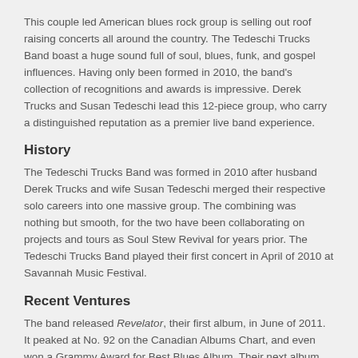This couple led American blues rock group is selling out roof raising concerts all around the country. The Tedeschi Trucks Band boast a huge sound full of soul, blues, funk, and gospel influences. Having only been formed in 2010, the band's collection of recognitions and awards is impressive. Derek Trucks and Susan Tedeschi lead this 12-piece group, who carry a distinguished reputation as a premier live band experience.
History
The Tedeschi Trucks Band was formed in 2010 after husband Derek Trucks and wife Susan Tedeschi merged their respective solo careers into one massive group. The combining was nothing but smooth, for the two have been collaborating on projects and tours as Soul Stew Revival for years prior. The Tedeschi Trucks Band played their first concert in April of 2010 at Savannah Music Festival.
Recent Ventures
The band released Revelator, their first album, in June of 2011. It peaked at No. 92 on the Canadian Albums Chart, and even won a Grammy Award for Best Blues Album. Their next album was titled Everybody's Talkin, a live album records in May of the next year. In 2013, the band released their third album, Made Up Mind, and was nominated for the Blues Music Awards.
After finishing up a final Allman Brothers Band tour in 2015